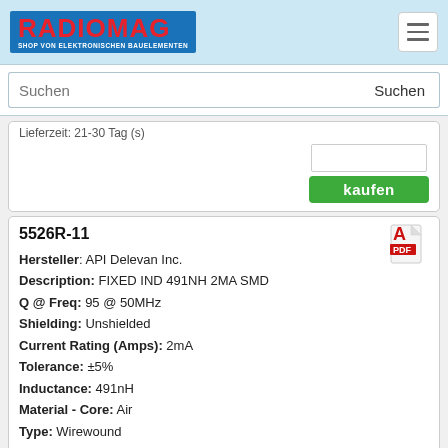RADIOMAG - SHOP VON ELEKTRONISCHEN BAUELEMENTEN
Suchen
Lieferzeit: 21-30 Tag (s)
kaufen
5526R-11
Hersteller: API Delevan Inc.
Description: FIXED IND 491NH 2MA SMD
Q @ Freq: 95 @ 50MHz
Shielding: Unshielded
Current Rating (Amps): 2mA
Tolerance: ±5%
Inductance: 491nH
Material - Core: Air
Type: Wirewound
Height - Seated (Max): 0.250" (6.35mm)
Size / Dimension: 0.420" L x 0.235" W (10.67mm x 5.97mm)
Package / Case: Nonstandard
Mounting Type: Surface Mount
Inductance Frequency - Test: 50MHz
Operating Temperature: -55°C ~ 125°C
Frequency - Self Resonant: 535MHz